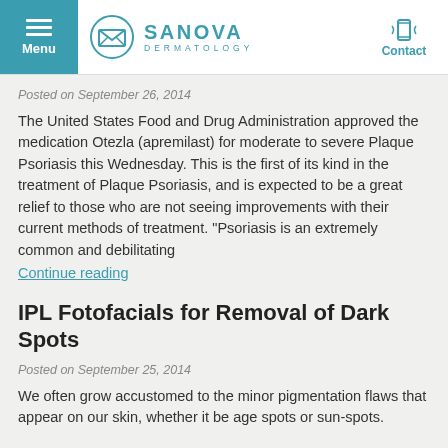Menu | Sanova Dermatology | Contact
Posted on September 26, 2014
The United States Food and Drug Administration approved the medication Otezla (apremilast) for moderate to severe Plaque Psoriasis this Wednesday. This is the first of its kind in the treatment of Plaque Psoriasis, and is expected to be a great relief to those who are not seeing improvements with their current methods of treatment. “Psoriasis is an extremely common and debilitating
Continue reading
IPL Fotofacials for Removal of Dark Spots
Posted on September 25, 2014
We often grow accustomed to the minor pigmentation flaws that appear on our skin, whether it be age spots or sun-spots.